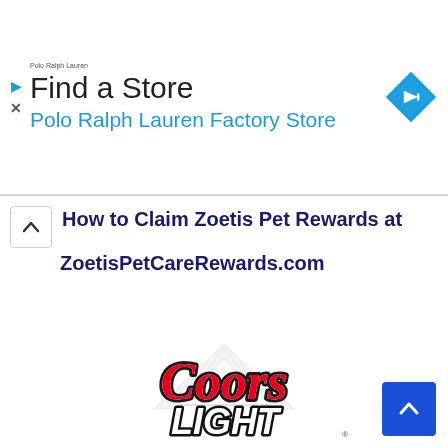[Figure (screenshot): Ad banner for Polo Ralph Lauren Factory Store with navigation icon, showing 'Find a Store' title and 'Polo Ralph Lauren Factory Store' subtitle in blue, with a blue diamond navigation arrow icon on the right and a small Polo Ralph Lauren logo on the left.]
How to Claim Zoetis Pet Rewards at ZoetisPetCareRewards.com
[Figure (logo): Coors Light logo: red cursive 'Coors' text over a grey mountain outline, with 'LIGHT' in bold white italic letters below, all on white background.]
[Figure (other): Blue scroll-to-top button with white chevron arrow pointing upward, positioned in bottom right corner.]